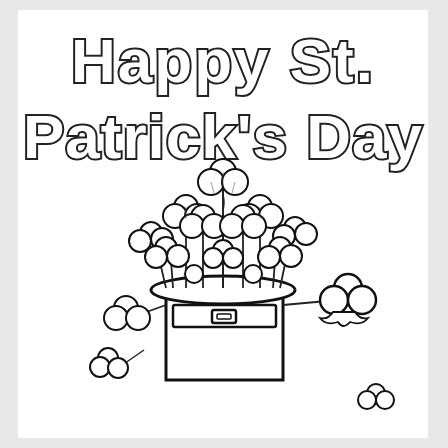[Figure (illustration): St. Patrick's Day coloring page illustration. At the top, large bubble/outline-style text reads 'Happy St. Patrick's Day'. Below the text is a large leprechaun hat overflowing with numerous shamrock/clover leaves and stems. Additional shamrocks appear around the hat — one large shamrock with a ribbon on the right side, a smaller shamrock to the lower left of the hat, and a small shamrock at the bottom right corner. The entire illustration is black and white line art, designed for coloring.]